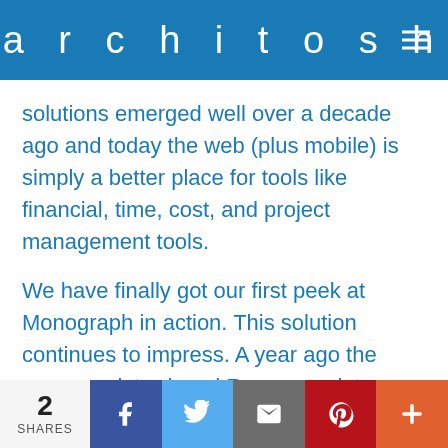architosh™
solutions emerged well over a decade ago and today the web (plus mobile) is simply a better place for tools like financial, time, cost, and project management tools.
We have finally got our first peek at Monograph in action. This solution continues to impress. A year ago the company introduced Resources into project planning. We have plans for a more in-depth investigation of Monograph and look forward to this tool's continued development.
2 SHARES | Facebook | Twitter | Email | Pinterest | More